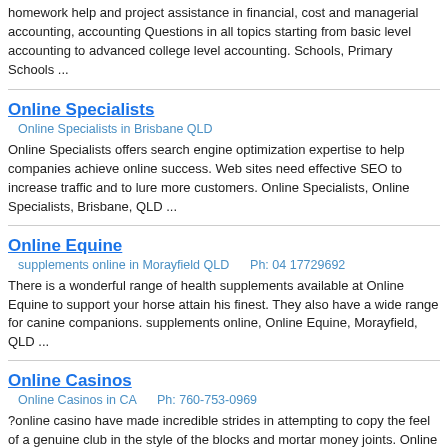homework help and project assistance in financial, cost and managerial accounting, accounting Questions in all topics starting from basic level accounting to advanced college level accounting. Schools, Primary Schools ...
Online Specialists
Online Specialists in Brisbane QLD
Online Specialists offers search engine optimization expertise to help companies achieve online success. Web sites need effective SEO to increase traffic and to lure more customers. Online Specialists, Online Specialists, Brisbane, QLD ...
Online Equine
supplements online in Morayfield QLD    Ph: 04 17729692
There is a wonderful range of health supplements available at Online Equine to support your horse attain his finest. They also have a wide range for canine companions. supplements online, Online Equine, Morayfield, QLD ...
Online Casinos
Online Casinos in CA    Ph: 760-753-0969
?online casino have made incredible strides in attempting to copy the feel of a genuine club in the style of the blocks and mortar money joints. Online Casinos, Online Casinos, CA ...